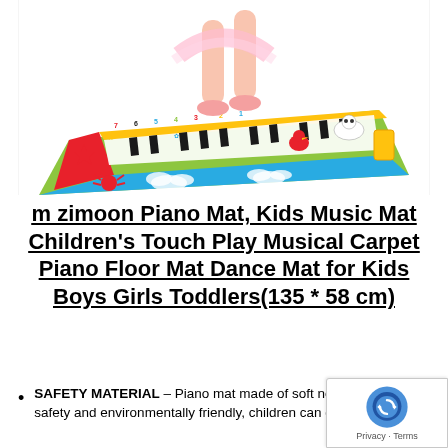[Figure (photo): A child in a pink tutu and ballet shoes standing on a colorful piano floor mat. The mat features piano keys, animal characters, numbers, and is yellow/green with cartoon illustrations.]
m zimoon Piano Mat, Kids Music Mat Children's Touch Play Musical Carpet Piano Floor Mat Dance Mat for Kids Boys Girls Toddlers(135 * 58 cm)
SAFETY MATERIAL – Piano mat made of soft non-woven fabric, safety and environmentally friendly, children can go